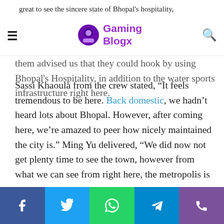Gaming Blogx
great to see the sincere state of Bhopal's hospitality, it's addition to the water sports infrastructure right here. Sassi Khaoula from the crew stated, "It feels tremendous to be here. Back domestic, we hadn't heard lots about Bhopal. However, after coming here, we're amazed to peer how nicely maintained the city is." Ming Yu delivered, "We did now not get plenty time to see the town, however from what we can see from right here, the metropolis is amazing and mystic. What we liked the maximum is the expert and correct mindset of the people right here." The Nigerian group chief Ola Oluode told us that the Upper Lake reminded him of a lake again home. "We are happy to have been part of this opposition and have discovered loads of things to help us for a stronger
Facebook Twitter WhatsApp Telegram Viber social share bar